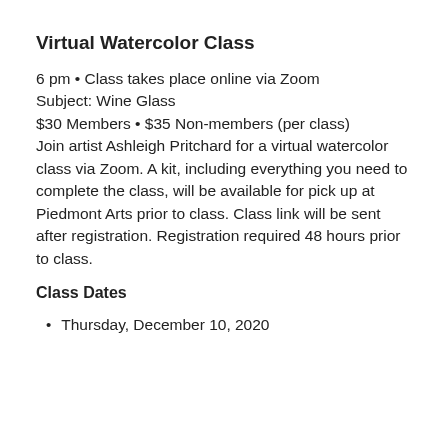Virtual Watercolor Class
6 pm • Class takes place online via Zoom
Subject: Wine Glass
$30 Members • $35 Non-members (per class)
Join artist Ashleigh Pritchard for a virtual watercolor class via Zoom. A kit, including everything you need to complete the class, will be available for pick up at Piedmont Arts prior to class. Class link will be sent after registration. Registration required 48 hours prior to class.
Class Dates
Thursday, December 10, 2020